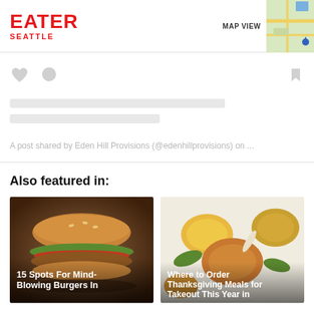EATER SEATTLE
[Figure (screenshot): Social media embed placeholder with skeleton loading UI showing heart, comment, and bookmark icons and two gray loading bars, with caption text: A post shared by Eden Hill Provisions (@edenhillprovisions) on ...]
Also featured in:
[Figure (photo): Article card: 15 Spots For Mind-Blowing Burgers In Seattle — photo of a large sandwich/burger on dark wood background]
[Figure (photo): Article card: Where to Order Thanksgiving Meals for Takeout This Year in — overhead photo of Thanksgiving dishes including sides and garnishes]